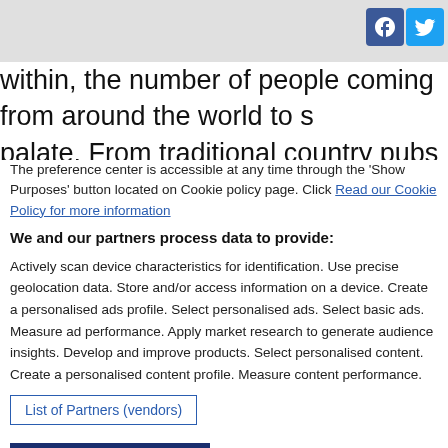[Figure (other): Top grey navigation bar with Facebook and Twitter social media icons in the top right corner]
within, the number of people coming from around the world to s palate. From traditional country pubs and inns serving quintess immerse you in its global cuisine, there is plenty for all to enjoy
The preference center is accessible at any time through the 'Show Purposes' button located on Cookie policy page. Click Read our Cookie Policy for more information
We and our partners process data to provide:
Actively scan device characteristics for identification. Use precise geolocation data. Store and/or access information on a device. Create a personalised ads profile. Select personalised ads. Select basic ads. Measure ad performance. Apply market research to generate audience insights. Develop and improve products. Select personalised content. Create a personalised content profile. Measure content performance.
List of Partners (vendors)
I Accept
Reject All